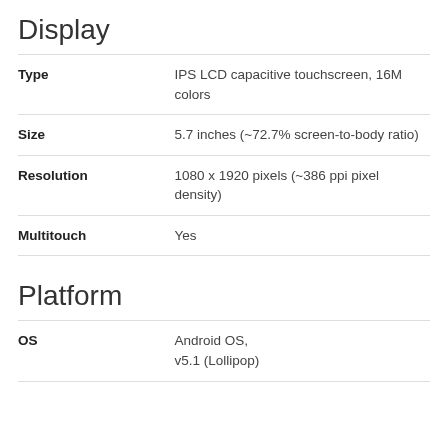Display
| Attribute | Value |
| --- | --- |
| Type | IPS LCD capacitive touchscreen, 16M colors |
| Size | 5.7 inches (~72.7% screen-to-body ratio) |
| Resolution | 1080 x 1920 pixels (~386 ppi pixel density) |
| Multitouch | Yes |
Platform
| Attribute | Value |
| --- | --- |
| OS | Android OS, v5.1 (Lollipop) |